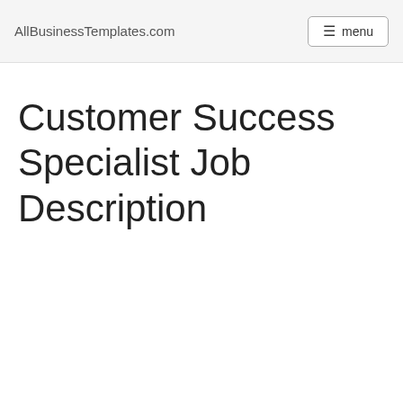AllBusinessTemplates.com  menu
Customer Success Specialist Job Description